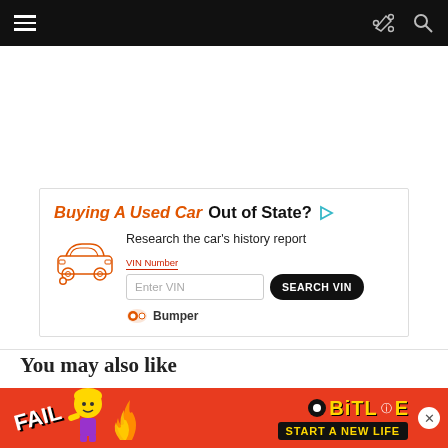Navigation bar with hamburger menu, share icon, and search icon
[Figure (infographic): Bumper VIN lookup advertisement: 'Buying A Used Car Out of State? Research the car's history report. VIN Number / Enter VIN / SEARCH VIN. Bumper logo.']
You may also like
[Figure (infographic): BitLife mobile game advertisement: FAIL text, animated character, fire flames, BitLife logo, START A NEW LIFE button]